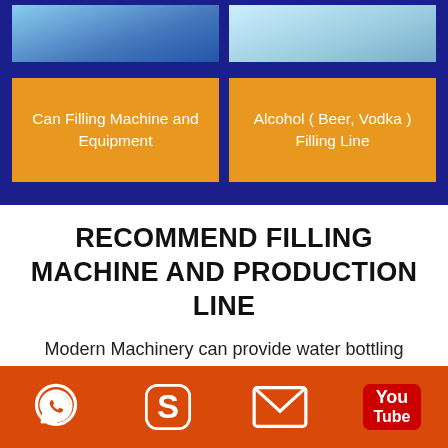[Figure (other): Two product category cards on dark blue background: 'Can Filling Machine and Equipment' and 'Alcohol (Beer, Vodka) Filling Line', each with an orange background tile and a product image above.]
RECOMMEND FILLING MACHINE AND PRODUCTION LINE
Modern Machinery can provide water bottling machine, water filling line, pure water filling line, juice filler, juice bottling machine, juice production line, carbonated beverage filling machine, soft drink processing equipment etc. The filling
[Figure (other): Orange footer bar with four social/contact icons: WhatsApp, Skype, Email (envelope), and YouTube.]